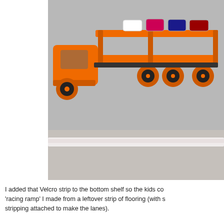[Figure (photo): Orange toy car carrier truck wall shelf mounted on a grey wall, holding several small die-cast toy cars on its upper deck. A white trim rail is visible along the bottom of the shelf.]
I added that Velcro strip to the bottom shelf so the kids co... 'racing ramp' I made from a leftover strip of flooring (with s... stripping attached to make the lanes).
[Figure (photo): Orange wall-mounted toy car display shelf with multiple tiers holding various colorful die-cast toy cars including monster trucks and sports cars.]